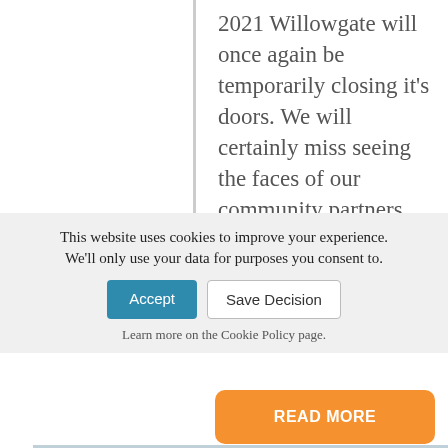2021 Willowgate will once again be temporarily closing it's doors. We will certainly miss seeing the faces of our community partners, loyal (if a [...]
READ MORE
[Figure (photo): Partial image strip showing an outdoor scene, possibly trees or a building exterior in winter]
This website uses cookies to improve your experience. We'll only use your data for purposes you consent to.
Accept
Save Decision
Learn more on the Cookie Policy page.